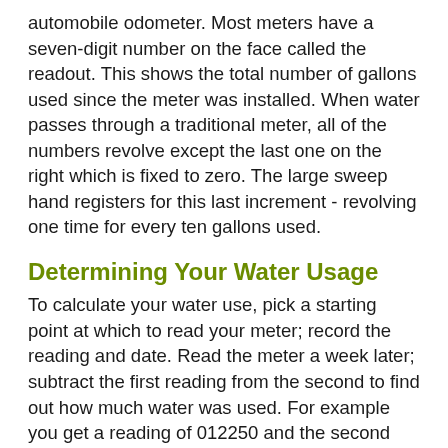automobile odometer. Most meters have a seven-digit number on the face called the readout. This shows the total number of gallons used since the meter was installed. When water passes through a traditional meter, all of the numbers revolve except the last one on the right which is fixed to zero. The large sweep hand registers for this last increment - revolving one time for every ten gallons used.
Determining Your Water Usage
To calculate your water use, pick a starting point at which to read your meter; record the reading and date. Read the meter a week later; subtract the first reading from the second to find out how much water was used. For example you get a reading of 012250 and the second time you get a reading of 015250. Subtract (015250-12250) which equals 3,000. Therefore 3,000 gallons of water